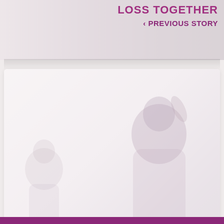LOSS TOGETHER
‹ PREVIOUS STORY
[Figure (photo): Faded background photo of people, possibly at an outdoor event, on right side of card]
Adopted Dog Gets Her Big Day
NEXT STORY ›